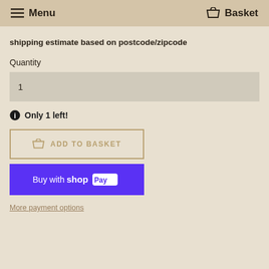Menu  Basket
shipping estimate based on postcode/zipcode
Quantity
1
Only 1 left!
[Figure (other): ADD TO BASKET button with cart icon, outlined in tan/gold color]
[Figure (other): Buy with Shop Pay button in purple]
More payment options